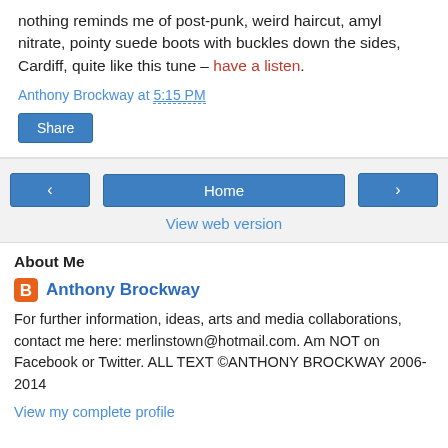nothing reminds me of post-punk, weird haircut, amyl nitrate, pointy suede boots with buckles down the sides, Cardiff, quite like this tune – have a listen.
Anthony Brockway at 5:15 PM
Share
‹  Home  ›
View web version
About Me
Anthony Brockway
For further information, ideas, arts and media collaborations, contact me here: merlinstown@hotmail.com. Am NOT on Facebook or Twitter. ALL TEXT ©ANTHONY BROCKWAY 2006-2014
View my complete profile